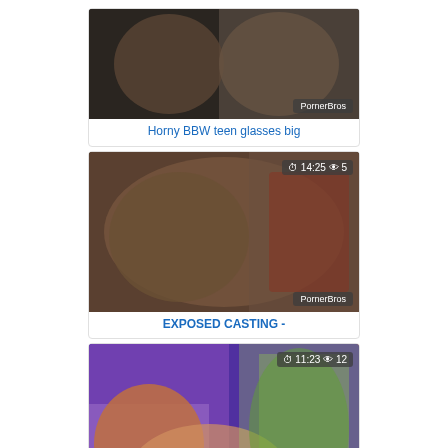[Figure (screenshot): Video thumbnail - Horny BBW teen glasses big - PornerBros watermark]
Horny BBW teen glasses big
[Figure (screenshot): Video thumbnail - EXPOSED CASTING - duration 14:25, views 5, PornerBros watermark]
EXPOSED CASTING -
[Figure (screenshot): Video thumbnail - CHICAS LOCA - Wild public - duration 11:23, views 12, PornerBros watermark]
CHICAS LOCA - Wild public
[Figure (screenshot): Partial video thumbnail at bottom of page]